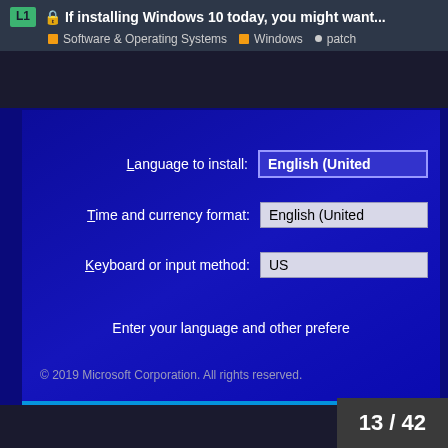🔒 If installing Windows 10 today, you might want...
Software & Operating Systems | Windows | patch
[Figure (screenshot): Windows 10 installation screen showing language and keyboard selection fields: Language to install: English (United, Time and currency format: English (United, Keyboard or input method: US. Enter your language and other prefere. © 2019 Microsoft Corporation. All rights reserved.]
13 / 42